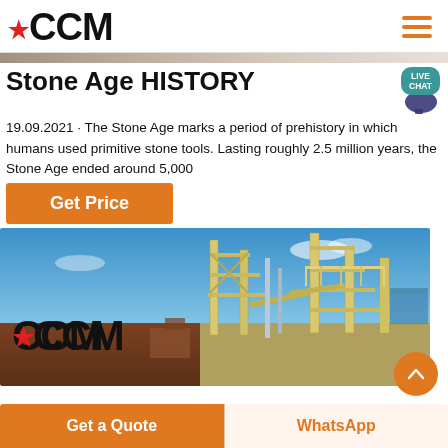CCM
Stone Age HISTORY
19.09.2021 · The Stone Age marks a period of prehistory in which humans used primitive stone tools. Lasting roughly 2.5 million years, the Stone Age ended around 5,000
Get Price
[Figure (photo): Industrial mining/quarrying equipment facility with yellow scaffolding structures, conveyor belts and machinery against a blue sky with brown terrain in foreground. CCM logo overlaid on left side.]
Get a Quote
WhatsApp